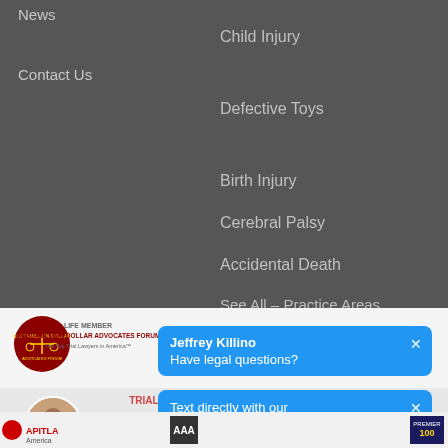News
Contact Us
Child Injury
Defective Toys
Birth Injury
Cerebral Palsy
Accidental Death
See All – Practice Areas
[Figure (logo): Multi-Million Dollar Advocates Forum badge and Super Lawyers logo strip]
Jeffrey Killino
Have legal questions?
Text directly with our attorneys/paralegals now for answers.